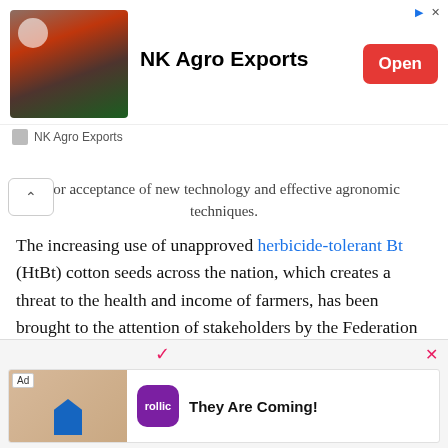[Figure (screenshot): Advertisement banner for NK Agro Exports with spice image, title, and Open button]
for acceptance of new technology and effective agronomic techniques.
The increasing use of unapproved herbicide-tolerant Bt (HtBt) cotton seeds across the nation, which creates a threat to the health and income of farmers, has been brought to the attention of stakeholders by the Federation of Seed Industry of India (FSII). To make sure that farmers have access to improved varieties coming from proper regulatory systems, FSII urges that the Government of India approve the new HtBt variety.
[Figure (screenshot): Advertisement for Rollic game 'They Are Coming!' with game image, app icon, and Download button]